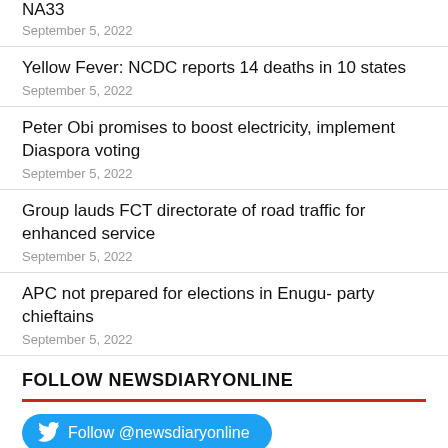NA33
September 5, 2022
Yellow Fever: NCDC reports 14 deaths in 10 states
September 5, 2022
Peter Obi promises to boost electricity, implement Diaspora voting
September 5, 2022
Group lauds FCT directorate of road traffic for enhanced service
September 5, 2022
APC not prepared for elections in Enugu- party chieftains
September 5, 2022
FOLLOW NEWSDIARYONLINE
Follow @newsdiaryonline